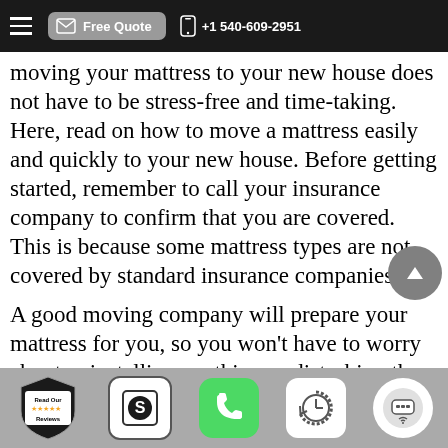Free Quote  +1 540-609-2951
moving your mattress to your new house does not have to be stress-free and time-taking. Here, read on how to move a mattress easily and quickly to your new house. Before getting started, remember to call your insurance company to confirm that you are covered. This is because some mattress types are not covered by standard insurance companies.
A good moving company will prepare your mattress for you, so you won't have to worry about uninstalling anything or disturbing the
Read Our Reviews  [app icons]